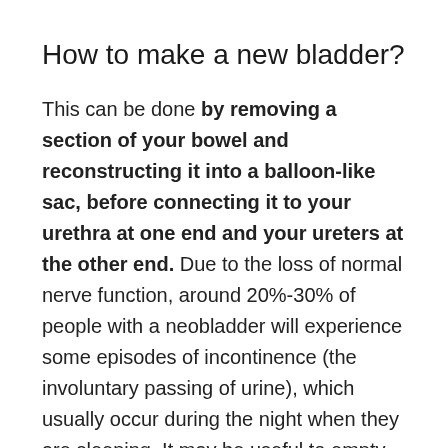How to make a new bladder?
This can be done by removing a section of your bowel and reconstructing it into a balloon-like sac, before connecting it to your urethra at one end and your ureters at the other end. Due to the loss of normal nerve function, around 20%-30% of people with a neobladder will experience some episodes of incontinence (the involuntary passing of urine), which usually occur during the night when they are sleeping. It may be useful to empty your neobladder at set times